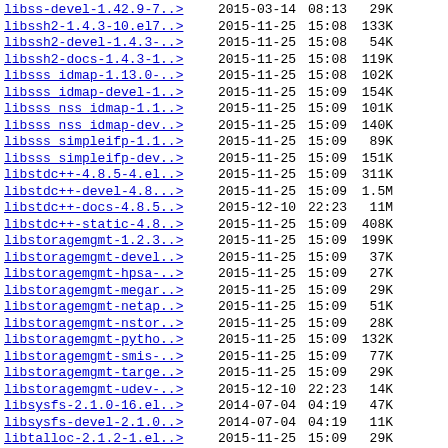| Name | Date | Time | Size |
| --- | --- | --- | --- |
| libss-devel-1.42.9-7..> | 2015-03-14 | 08:13 | 29K |
| libssh2-1.4.3-10.el7..> | 2015-11-25 | 15:08 | 133K |
| libssh2-devel-1.4.3-..> | 2015-11-25 | 15:08 | 54K |
| libssh2-docs-1.4.3-1..> | 2015-11-25 | 15:08 | 119K |
| libsss_idmap-1.13.0-..> | 2015-11-25 | 15:08 | 102K |
| libsss_idmap-devel-1..> | 2015-11-25 | 15:09 | 154K |
| libsss_nss_idmap-1.1..> | 2015-11-25 | 15:09 | 101K |
| libsss_nss_idmap-dev..> | 2015-11-25 | 15:09 | 140K |
| libsss_simpleifp-1.1..> | 2015-11-25 | 15:09 | 89K |
| libsss_simpleifp-dev..> | 2015-11-25 | 15:09 | 151K |
| libstdc++-4.8.5-4.el..> | 2015-11-25 | 15:09 | 311K |
| libstdc++-devel-4.8...> | 2015-11-25 | 15:09 | 1.5M |
| libstdc++-docs-4.8.5..> | 2015-12-10 | 22:23 | 11M |
| libstdc++-static-4.8..> | 2015-11-25 | 15:09 | 408K |
| libstoragemgmt-1.2.3..> | 2015-11-25 | 15:09 | 199K |
| libstoragemgmt-devel..> | 2015-11-25 | 15:09 | 37K |
| libstoragemgmt-hpsa-..> | 2015-11-25 | 15:09 | 27K |
| libstoragemgmt-megar..> | 2015-11-25 | 15:09 | 29K |
| libstoragemgmt-netap..> | 2015-11-25 | 15:09 | 51K |
| libstoragemgmt-nstor..> | 2015-11-25 | 15:09 | 28K |
| libstoragemgmt-pytho..> | 2015-11-25 | 15:09 | 132K |
| libstoragemgmt-smis-..> | 2015-11-25 | 15:09 | 77K |
| libstoragemgmt-targe..> | 2015-11-25 | 15:09 | 29K |
| libstoragemgmt-udev-..> | 2015-12-10 | 22:23 | 14K |
| libsysfs-2.1.0-16.el..> | 2014-07-04 | 04:19 | 47K |
| libsysfs-devel-2.1.0..> | 2014-07-04 | 04:19 | 11K |
| libtalloc-2.1.2-1.el..> | 2015-11-25 | 15:09 | 29K |
| libtalloc-devel-2.1...> | 2015-11-25 | 15:09 | 51K |
| libtar-1.2.11-29.el7..> | 2015-05-18 | 14:31 | 34K |
| libtar-devel-1.2.11-..> | 2015-05-18 | 14:31 | 31K |